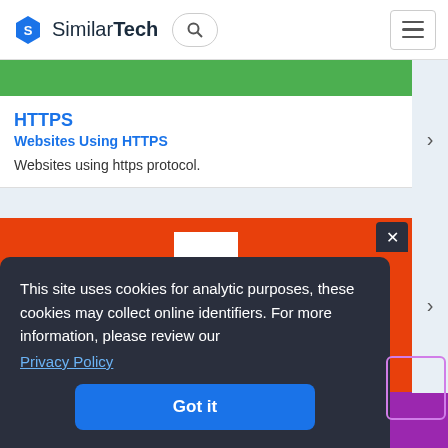SimilarTech
HTTPS
Websites Using HTTPS
Websites using https protocol.
[Figure (logo): HTML logo on orange/red background]
This site uses cookies for analytic purposes, these cookies may collect online identifiers. For more information, please review our Privacy Policy
Got it